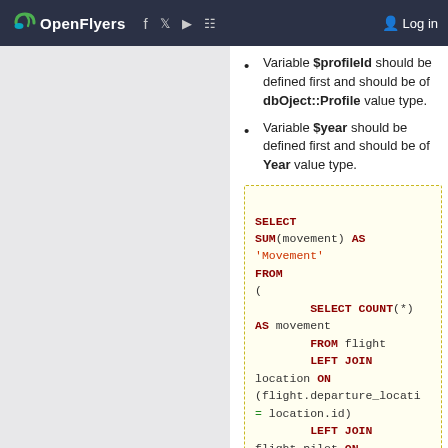OpenFlyers — Log in
Variable $profileId should be defined first and should be of dbOject::Profile value type.
Variable $year should be defined first and should be of Year value type.
SELECT SUM(movement) AS 'Movement' FROM ( SELECT COUNT(*) AS movement FROM flight LEFT JOIN location ON (flight.departure_locati = location.id) LEFT JOIN flight_pilot ON (flight_pilot.flight_id=